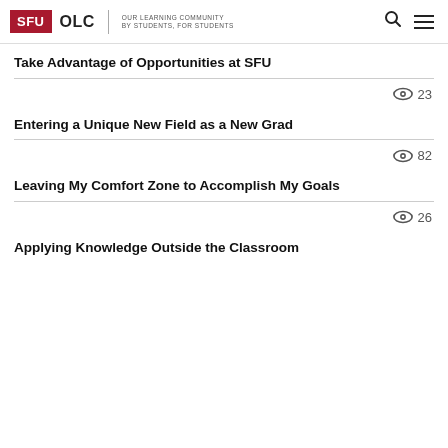SFU OLC | OUR LEARNING COMMUNITY BY STUDENTS, FOR STUDENTS
Take Advantage of Opportunities at SFU
23 views
Entering a Unique New Field as a New Grad
82 views
Leaving My Comfort Zone to Accomplish My Goals
26 views
Applying Knowledge Outside the Classroom